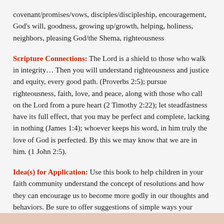covenant/promises/vows, disciples/discipleship, encouragement, God's will, goodness, growing up/growth, helping, holiness, neighbors, pleasing God/the Shema, righteousness
Scripture Connections: The Lord is a shield to those who walk in integrity… Then you will understand righteousness and justice and equity, every good path. (Proverbs 2:5); pursue righteousness, faith, love, and peace, along with those who call on the Lord from a pure heart (2 Timothy 2:22); let steadfastness have its full effect, that you may be perfect and complete, lacking in nothing (James 1:4); whoever keeps his word, in him truly the love of God is perfected. By this we may know that we are in him. (1 John 2:5).
Idea(s) for Application: Use this book to help children in your faith community understand the concept of resolutions and how they can encourage us to become more godly in our thoughts and behaviors. Be sure to offer suggestions of simple ways your children could do this throughout the new year. Follow up with encouragement as the year progresses including sharing how you are doing with your own resolution.